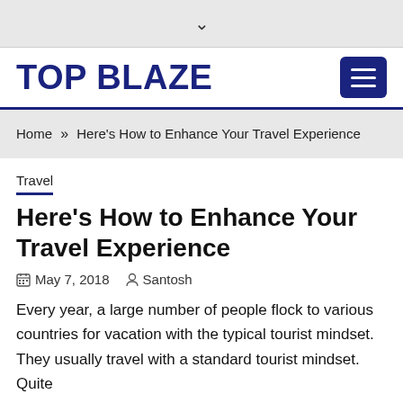▾
TOP BLAZE
Home » Here's How to Enhance Your Travel Experience
Travel
Here's How to Enhance Your Travel Experience
May 7, 2018   Santosh
Every year, a large number of people flock to various countries for vacation with the typical tourist mindset. They usually travel with a standard tourist mindset. Quite